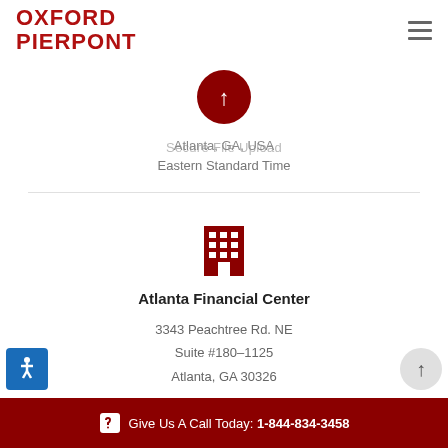[Figure (logo): Oxford Pierpont logo in red bold text]
[Figure (illustration): Red circular cloud/upload icon at top]
Atlanta, GA, USA
Secure File Upload
Eastern Standard Time
[Figure (illustration): Dark red building/office icon]
Atlanta Financial Center
3343 Peachtree Rd. NE
Suite #180–1125
Atlanta, GA 30326
Give Us A Call Today: 1-844-834-3458